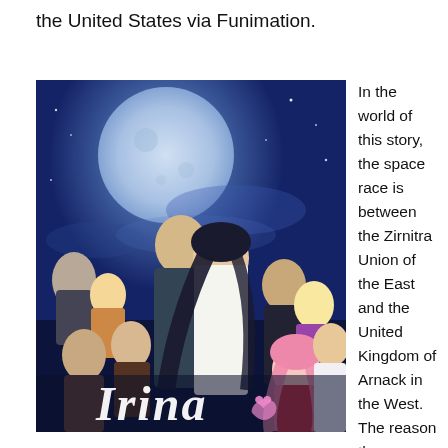the United States via Funimation.
[Figure (illustration): Anime promotional image for 'Irina' featuring multiple characters posed against a blue night sky with a large moon. The title 'Irina' is displayed at the bottom in stylized text.]
In the world of this story, the space race is between the Zirnitra Union of the East and the United Kingdom of Arnack in the West. The reason these countries arose instead